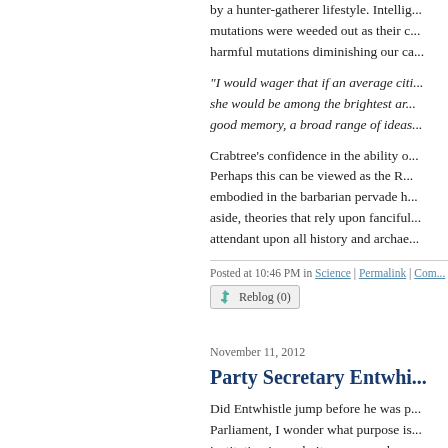by a hunter-gatherer lifestyle. Intelligent mutations were weeded out as their ca... harmful mutations diminishing our ca...
"I would wager that if an average citi... she would be among the brightest ar... good memory, a broad range of ideas...
Crabtree's confidence in the ability o... Perhaps this can be viewed as the R... embodied in the barbarian pervade h... aside, theories that rely upon fanciful... attendant upon all history and archae...
Posted at 10:46 PM in Science | Permalink | Com...
Reblog (0)
November 11, 2012
Party Secretary Entwhi...
Did Entwhistle jump before he was p... Parliament, I wonder what purpose is... institution is weak, its managers bou... the top is chosen at the expense of r... as a sacrifice to the public maw.
Yet the resignation serves as an irrel...